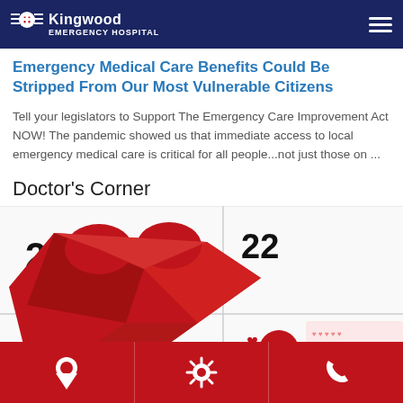Kingwood Emergency Hospital
Emergency Medical Care Benefits Could Be Stripped From Our Most Vulnerable Citizens
Tell your legislators to Support The Emergency Care Improvement Act NOW! The pandemic showed us that immediate access to local emergency medical care is critical for all people...not just those on ...
Doctor's Corner
[Figure (photo): A calendar showing dates 21, 22, 29, 30 with a red origami paper heart and a small red heart on date 29 with text 'World' in red handwriting, Valentine's/World Heart Day themed image]
Location | Settings | Phone